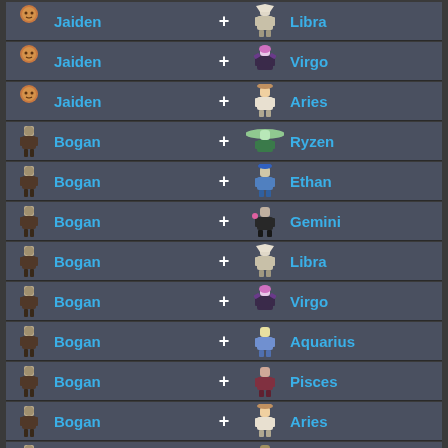| Character | + | Character |
| --- | --- | --- |
| Jaiden | + | Libra |
| Jaiden | + | Virgo |
| Jaiden | + | Aries |
| Bogan | + | Ryzen |
| Bogan | + | Ethan |
| Bogan | + | Gemini |
| Bogan | + | Libra |
| Bogan | + | Virgo |
| Bogan | + | Aquarius |
| Bogan | + | Pisces |
| Bogan | + | Aries |
| Bogan | + | ... |